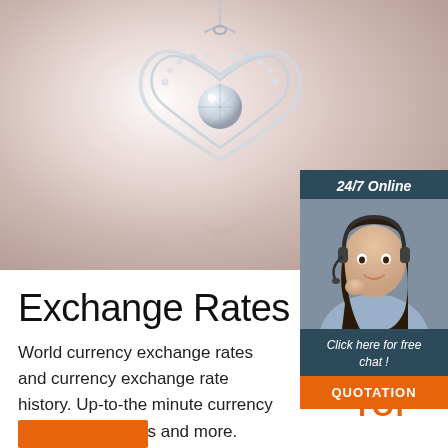[Figure (photo): Close-up photo of a silver heart-shaped pendant necklace with crystals on a soft pink/beige background]
[Figure (photo): Advertisement sidebar: '24/7 Online' with photo of female customer service agent wearing headset, 'Click here for free chat!' text, and orange QUOTATION button]
Exchange Rates
World currency exchange rates and currency exchange rate history. Up-to-the minute currency conversion, charts and more.
[Figure (logo): Currency TOP logo with orange dots and orange 'TOP' text]